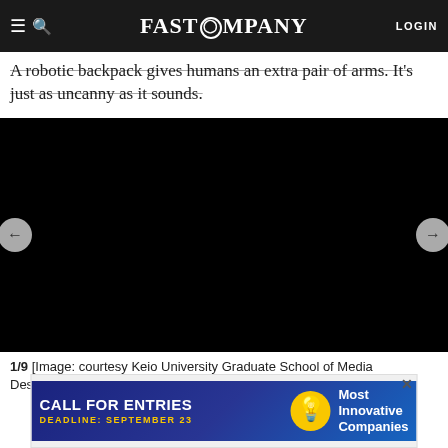FAST COMPANY  LOGIN
A robotic backpack gives humans an extra pair of arms. It's just as uncanny as it sounds.
[Figure (photo): Black image panel showing a slideshow viewer with left and right navigation arrows. Image is all black (not loaded or placeholder).]
1/9 [Image: courtesy Keio University Graduate School of Media Design/The University of Tokyo]
[Figure (infographic): Advertisement banner: CALL FOR ENTRIES, DEADLINE: SEPTEMBER 23, Most Innovative Companies]